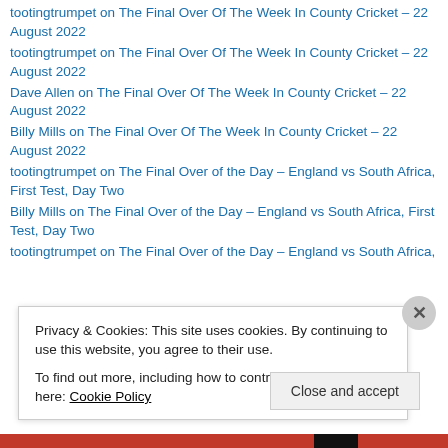tootingtrumpet on The Final Over Of The Week In County Cricket – 22 August 2022
tootingtrumpet on The Final Over Of The Week In County Cricket – 22 August 2022
Dave Allen on The Final Over Of The Week In County Cricket – 22 August 2022
Billy Mills on The Final Over Of The Week In County Cricket – 22 August 2022
tootingtrumpet on The Final Over of the Day – England vs South Africa, First Test, Day Two
Billy Mills on The Final Over of the Day – England vs South Africa, First Test, Day Two
tootingtrumpet on The Final Over of the Day – England vs South Africa,
Privacy & Cookies: This site uses cookies. By continuing to use this website, you agree to their use.
To find out more, including how to control cookies, see here: Cookie Policy
Close and accept